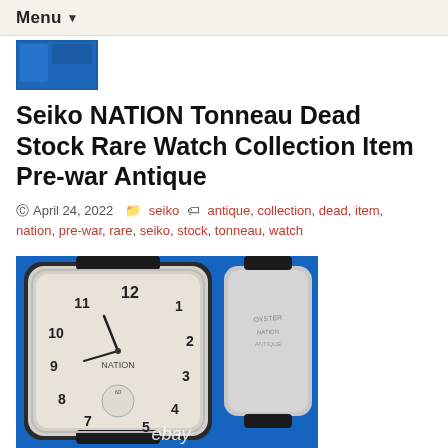Menu ▼
[Figure (photo): Small blue thumbnail image from a watch listing]
Seiko NATION Tonneau Dead Stock Rare Watch Collection Item Pre-war Antique
April 24, 2022   seiko   antique, collection, dead, item, nation, pre-war, rare, seiko, stock, tonneau, watch
[Figure (photo): Photo collage of a Seiko NATION tonneau-shaped antique wristwatch showing front face with Arabic numerals and caseback with engraving, displayed on a blue background with 'ebay' watermark. Bottom strip shows partial second image.]